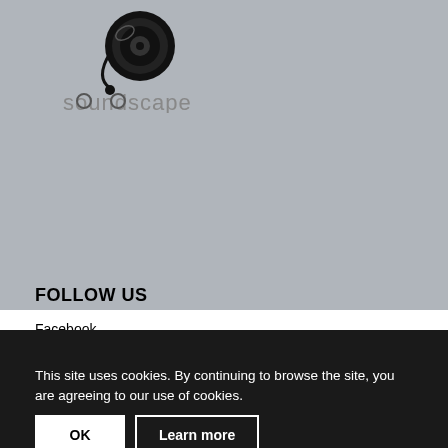[Figure (logo): Soundscape logo with vinyl record and headphones icon above the text 'soundscape' in gray]
FOLLOW US
Facebook
Instagram
Twitter
Youtube
Spotify
Soundcloud
This site uses cookies. By continuing to browse the site, you are agreeing to our use of cookies.
OK
Learn more